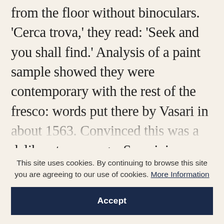from the floor without binoculars. 'Cerca trova,' they read: 'Seek and you shall find.' Analysis of a paint sample showed they were contemporary with the rest of the fresco: words put there by Vasari in about 1563. Convinced this was a deliberate message, Seracini intensified his search in this area, the south-eastern stretch of walls. He found evidence of a hidden wall behind the Vasari fresco, separated from it by a cavity some three centimetres wide. This protective pocket of air may just have been Vasari's means of preserving the Leonardo beneath. (He did something similar
This site uses cookies. By continuing to browse this site you are agreeing to our use of cookies. More Information
Accept